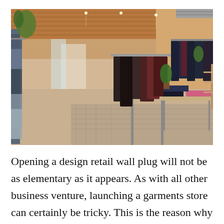[Figure (photo): Interior of a clothing retail store with wooden walls and ceiling, clothing racks with hanging garments (denim, coats, jackets), a patterned floor rug, display tables with folded clothes, potted plants, and warm lighting.]
Opening a design retail wall plug will not be as elementary as it appears. As with all other business venture, launching a garments store can certainly be tricky. This is the reason why